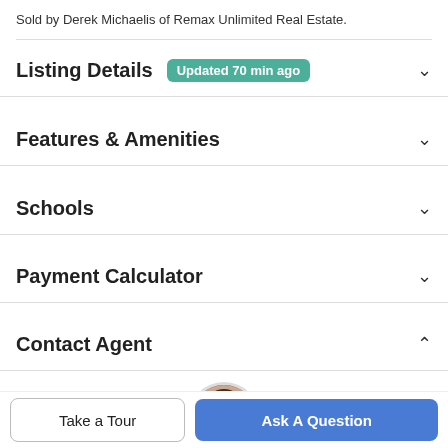Sold by Derek Michaelis of Remax Unlimited Real Estate.
Listing Details
Features & Amenities
Schools
Payment Calculator
Contact Agent
[Figure (photo): Circular headshot photo of a female real estate agent with brown hair]
Take a Tour
Ask A Question